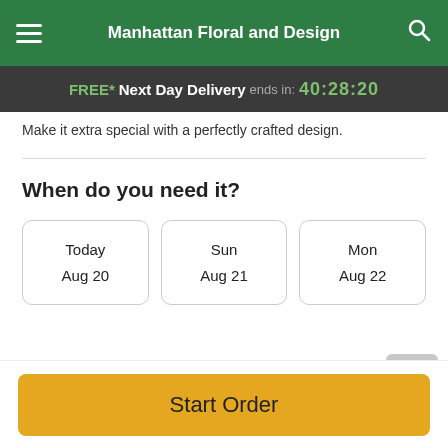Manhattan Floral and Design
FREE* Next Day Delivery ends in: 40:28:20
Make it extra special with a perfectly crafted design.
When do you need it?
Today Aug 20
Sun Aug 21
Mon Aug 22
Guaranteed SAFE Checkout
[Figure (other): Payment icons: VISA, Mastercard, American Express, Discover, Apple Pay]
Start Order